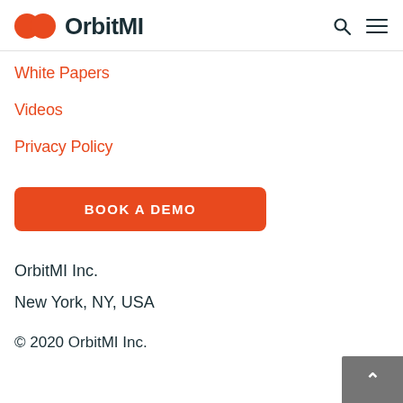OrbitMI
White Papers
Videos
Privacy Policy
BOOK A DEMO
OrbitMI Inc.
New York, NY, USA
© 2020 OrbitMI Inc.